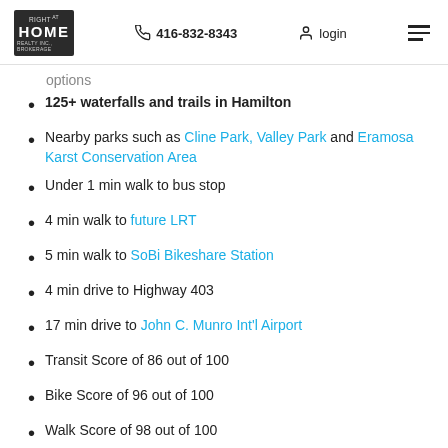Right at Home | 416-832-8343 | login
options
125+ waterfalls and trails in Hamilton
Nearby parks such as Cline Park, Valley Park and Eramosa Karst Conservation Area
Under 1 min walk to bus stop
4 min walk to future LRT
5 min walk to SoBi Bikeshare Station
4 min drive to Highway 403
17 min drive to John C. Munro Int'l Airport
Transit Score of 86 out of 100
Bike Score of 96 out of 100
Walk Score of 98 out of 100
CANLIGHT is selective about the projects they take on.